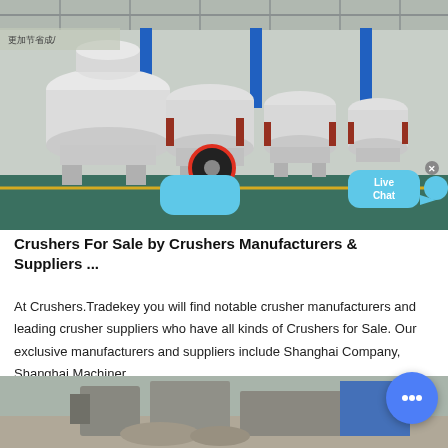[Figure (photo): Industrial factory floor showing multiple large white cone crushers lined up in a row inside a manufacturing facility. Chinese signage visible in background.]
Crushers For Sale by Crushers Manufacturers & Suppliers ...
At Crushers.Tradekey you will find notable crusher manufacturers and leading crusher suppliers who have all kinds of Crushers for Sale. Our exclusive manufacturers and suppliers include Shanghai Company, Shanghai Machinery Co. Ltd, Shanghai Shanghai Mining Machinery Co. Ltd TR...
[Figure (photo): Partial view of industrial crushing or mining machinery equipment on an outdoor or semi-outdoor surface.]